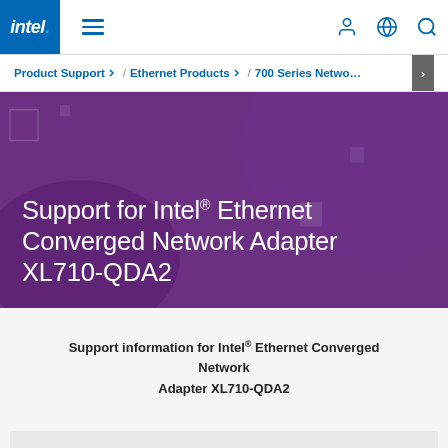Intel (logo) | hamburger menu | user icon | globe icon | search icon
Product Support / Ethernet Products / 700 Series Network Adapters
Support for Intel® Ethernet Converged Network Adapter XL710-QDA2
Support information for Intel® Ethernet Converged Network Adapter XL710-QDA2
Filter Articles